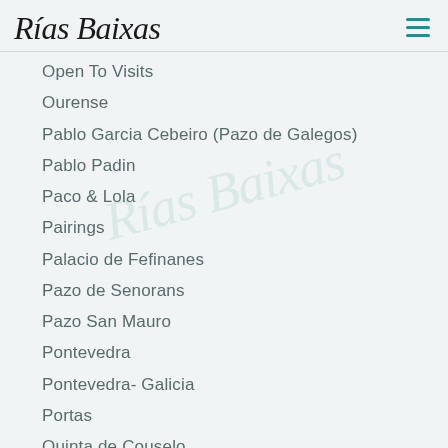Rías Baixas
Open To Visits
Ourense
Pablo Garcia Cebeiro (Pazo de Galegos)
Pablo Padin
Paco & Lola
Pairings
Palacio de Fefinanes
Pazo de Senorans
Pazo San Mauro
Pontevedra
Pontevedra- Galicia
Portas
Quinta de Couselo
Quinta de la Erre